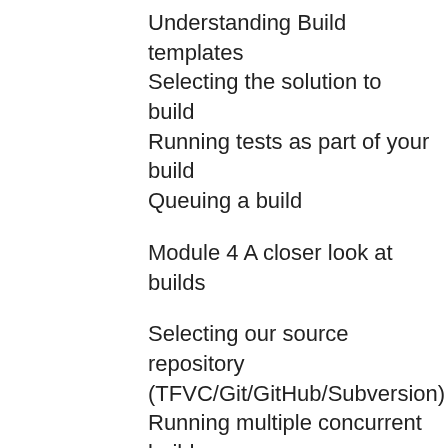Understanding Build templates
Selecting the solution to build
Running tests as part of your build
Queuing a build
Module 4 A closer look at builds
Selecting our source repository (TFVC/Git/GitHub/Subversion)
Running multiple concurrent builds
Working with Build variables
Configuring Continuous Integration (CI) and scheduled builds
Using Gated Check-ins
Using demands to influence agent selection
Build retention policies